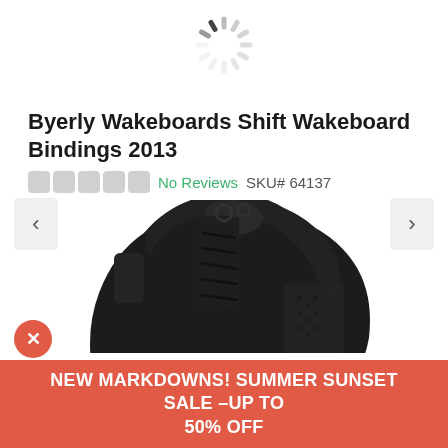[Figure (other): Loading spinner / activity indicator circle, partially filled, gray segments]
Byerly Wakeboards Shift Wakeboard Bindings 2013
No Reviews  SKU# 64137
[Figure (photo): Black wakeboard boot/binding product photo, close-up showing lace-up boot with textured panels and yellow Byerly logo at base]
NEW MARKDOWNS! SUMMER SUNSET SALE –UP TO 50% OFF